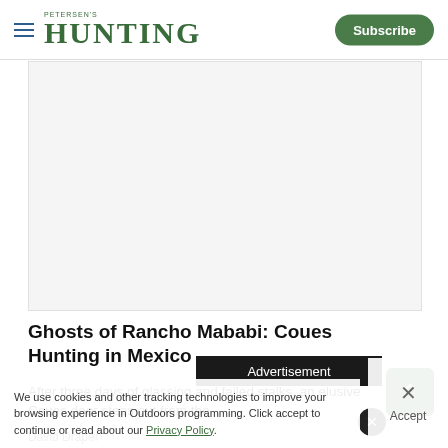PETERSEN'S HUNTING | Subscribe
[Figure (photo): Large white/light gray image placeholder area below the navigation bar]
Ghosts of Rancho Mababi: Coues Hunting in Mexico
After three days of glassing and failed stalks, an elusive Coues deer steps out from the
David Draper
Advertisement
We use cookies and other tracking technologies to improve your browsing experience on our site, show personalized content and targeted ads, analyze site traffic, and understand where our audiences come from. To learn more or opt-out, read our Cookie Policy. Please also read our Privacy Policy and Terms of Use, which became effective December 20, 2019. By choosing I Accept, you consent to our use of cookies and other tracking technologies. Click accept to continue or read about our Privacy Policy.